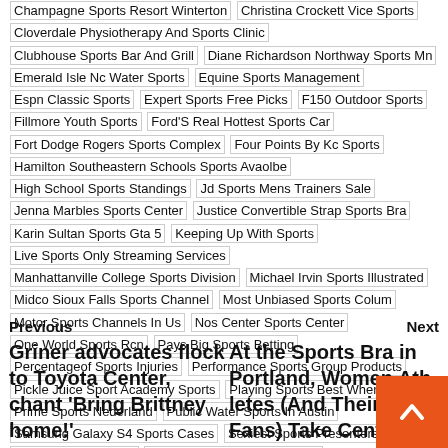Champagne Sports Resort Winterton | Christina Crockett Vice Sports | Cloverdale Physiotherapy And Sports Clinic | Clubhouse Sports Bar And Grill | Diane Richardson Northway Sports Mn | Emerald Isle Nc Water Sports | Equine Sports Management | Espn Classic Sports | Expert Sports Free Picks | F150 Outdoor Sports | Fillmore Youth Sports | Ford'S Real Hottest Sports Car | Fort Dodge Rogers Sports Complex | Four Points By Kc Sports | Hamilton Southeastern Schools Sports Avaolbe | High School Sports Standings | Jd Sports Mens Trainers Sale | Jenna Marbles Sports Center | Justice Convertible Strap Sports Bra | Karin Sultan Sports Gta 5 | Keeping Up With Sports | Live Sports Only Streaming Services | Manhattanville College Sports Division | Michael Irvin Sports Illustrated | Midco Sioux Falls Sports Channel | Most Unbiased Sports Colum | Motor Sports Channels In Us | Nos Center Sports Center | One World Sports Rcn | Pays Big Sports Betting | Percentageof Sports Injuries | Performance Sports Group Products | Pickle Juice Sport Academy Sports | Playing Sports Best When Angry | Prime Sports Nederland | Public Water Sports In Austin | Samsung Galaxy S4 Sports Cases | Sexiest Sports Presenters | Tech Sports Subarus | Tianjin Sports Arena Capacity | Trx Suspension Trainer Sports Academy | Tx | Uk Sports Betting Sites Data
Previous
Next
Griner advocates flock to Toyota Center, chant 'Bring Brittney home!'
At the Sports Bra in Portland, Women Athletes (And Their Fans) Take Center Stage